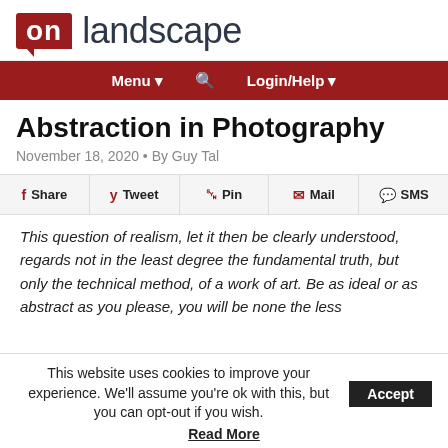on landscape
[Figure (logo): On Landscape logo with red speech bubble containing 'on' and dark gray 'landscape' text]
[Figure (screenshot): Navigation bar with Menu, search icon, and Login/Help on dark red background]
Abstraction in Photography
November 18, 2020 • By Guy Tal
[Figure (infographic): Social share buttons: Share, Tweet, Pin, Mail, SMS]
This question of realism, let it then be clearly understood, regards not in the least degree the fundamental truth, but only the technical method, of a work of art. Be as ideal or as abstract as you please, you will be none the less
This website uses cookies to improve your experience. We'll assume you're ok with this, but you can opt-out if you wish. Accept
Read More